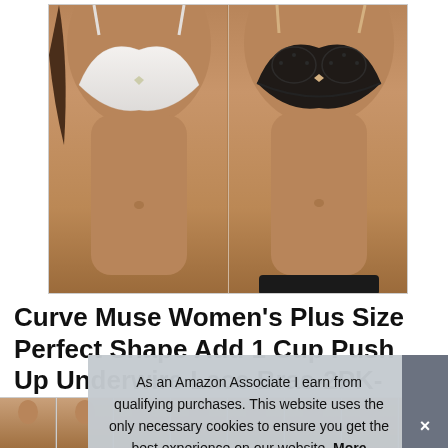[Figure (photo): Product photo showing two women wearing lace bras — one in white lace bra on the left, one in black lace bra on the right, cropped from shoulders to hips against skin-tone background]
Curve Muse Women's Plus Size Perfect Shape Add 1 Cup Push Up Underwire Lace Bras-2PK-BLACK WHITE-36DD
#ad
As an Amazon Associate I earn from qualifying purchases. This website uses the only necessary cookies to ensure you get the best experience on our website. More information
[Figure (photo): Bottom thumbnail strip showing multiple small product images of women wearing bras in various color options]